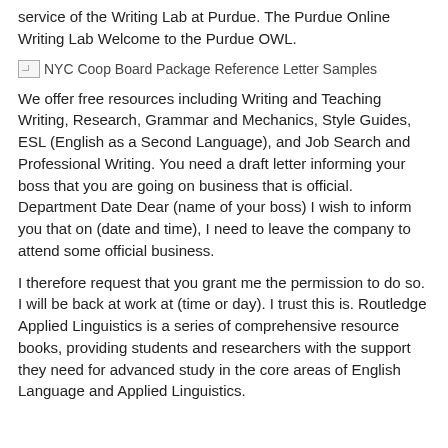service of the Writing Lab at Purdue. The Purdue Online Writing Lab Welcome to the Purdue OWL.
[Figure (other): Broken image placeholder labeled 'NYC Coop Board Package Reference Letter Samples']
We offer free resources including Writing and Teaching Writing, Research, Grammar and Mechanics, Style Guides, ESL (English as a Second Language), and Job Search and Professional Writing. You need a draft letter informing your boss that you are going on business that is official. Department Date Dear (name of your boss) I wish to inform you that on (date and time), I need to leave the company to attend some official business.
I therefore request that you grant me the permission to do so. I will be back at work at (time or day). I trust this is. Routledge Applied Linguistics is a series of comprehensive resource books, providing students and researchers with the support they need for advanced study in the core areas of English Language and Applied Linguistics.